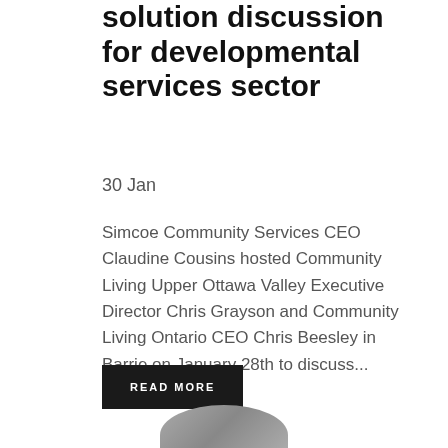solution discussion for developmental services sector
30 Jan
Simcoe Community Services CEO Claudine Cousins hosted Community Living Upper Ottawa Valley Executive Director Chris Grayson and Community Living Ontario CEO Chris Beesley in Barrie on January 28th to discuss...
READ MORE
[Figure (photo): Partial photo visible at bottom of page, appears to be a person or group]